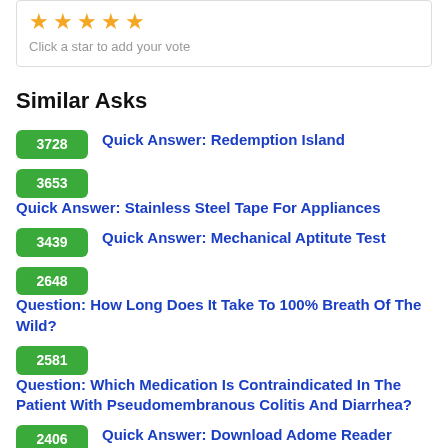[Figure (other): Star rating widget showing 5 gold stars with text 'Click a star to add your vote']
Similar Asks
3728  Quick Answer: Redemption Island
3653  Quick Answer: Stainless Steel Tape For Appliances
3439  Quick Answer: Mechanical Aptitute Test
2648  Question: How Long Does It Take To 100% Breath Of The Wild?
2581  Question: Which Medication Is Contraindicated In The Patient With Pseudomembranous Colitis And Diarrhea?
2406  Quick Answer: Download Adome Reader